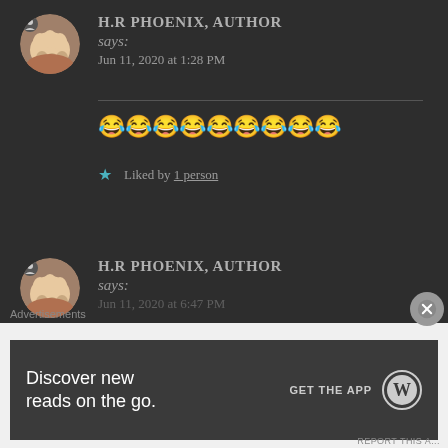[Figure (screenshot): Avatar image of a cat paw being held, circular crop with small user icon overlay, for H.R Phoenix author comment 1]
H.R PHOENIX, AUTHOR says: Jun 11, 2020 at 1:28 PM
😂😂😂😂😂😂😂😂😂
★ Liked by 1 person
[Figure (screenshot): Avatar image of a cat paw being held, circular crop with small user icon overlay, for H.R Phoenix author comment 2]
H.R PHOENIX, AUTHOR says: Jun 11, 2020 at 6:47 PM
Advertisements
Discover new reads on the go.
GET THE APP